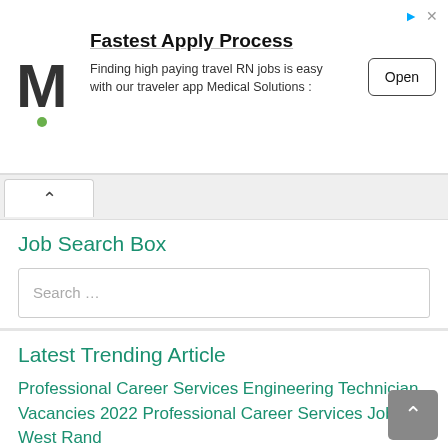[Figure (infographic): Advertisement banner for Medical Solutions featuring M logo, 'Fastest Apply Process' headline, description about travel RN jobs, and Open button]
Job Search Box
Search …
Latest Trending Article
Professional Career Services Engineering Technician Vacancies 2022 Professional Career Services Jobs in West Rand
August 18, 2022